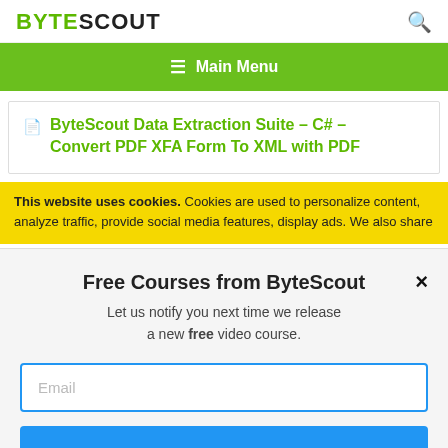BYTESCOUT
≡ Main Menu
ByteScout Data Extraction Suite – C# – Convert PDF XFA Form To XML with PDF
This website uses cookies. Cookies are used to personalize content, analyze traffic, provide social media features, display ads. We also share
Free Courses from ByteScout
Let us notify you next time we release a new free video course.
Email
SUBSCRIBE